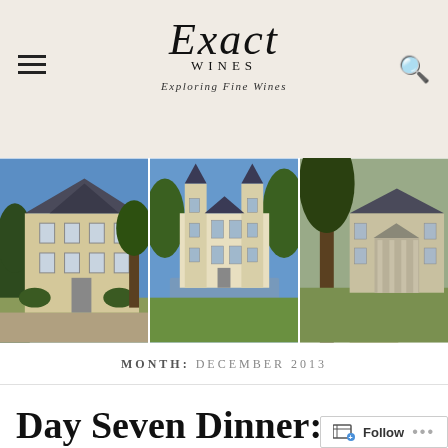[Figure (logo): Exact Wines logo with italic script and tagline 'Exploring Fine Wines' on beige background]
[Figure (photo): Three side-by-side photos of French wine chateaux buildings with gardens and trees]
MONTH: DECEMBER 2013
Day Seven Dinner: Where the